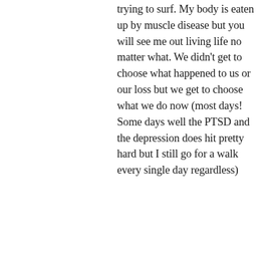trying to surf. My body is eaten up by muscle disease but you will see me out living life no matter what. We didn't get to choose what happened to us or our loss but we get to choose what we do now (most days! Some days well the PTSD and the depression does hit pretty hard but I still go for a walk every single day regardless)